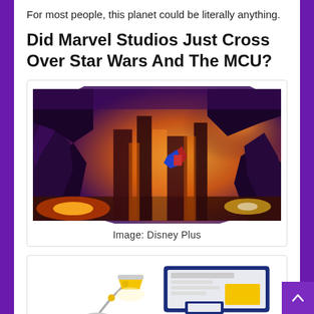For most people, this planet could be literally anything.
Did Marvel Studios Just Cross Over Star Wars And The MCU?
[Figure (illustration): Fantasy/sci-fi artwork showing a caped figure leaping or flying over a dramatic fiery alien landscape with orange and purple hues, lava-lit canyon structures, and glowing lights.]
Image: Disney Plus
[Figure (illustration): Infographic illustration showing a desk lamp and a device/screen with layout elements, representing content or media platform.]